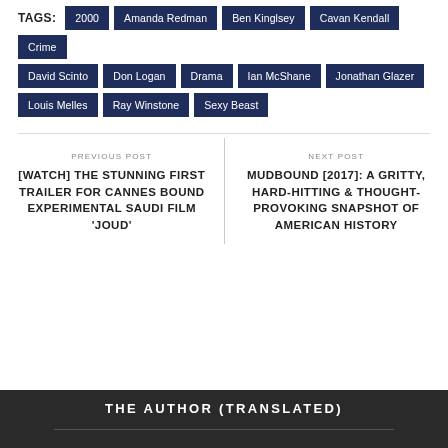TAGS: 2000, Amanda Redman, Ben Kinglsey, Cavan Kendall, Crime, David Scinto, Don Logan, Drama, Ian McShane, Jonathan Glazer, Louis Melles, Ray Winstone, Sexy Beast
PREVIOUS POST
[WATCH] THE STUNNING FIRST TRAILER FOR CANNES BOUND EXPERIMENTAL SAUDI FILM 'JOUD'
NEXT POST
MUDBOUND [2017]: A GRITTY, HARD-HITTING & THOUGHT-PROVOKING SNAPSHOT OF AMERICAN HISTORY
THE AUTHOR (TRANSLATED)